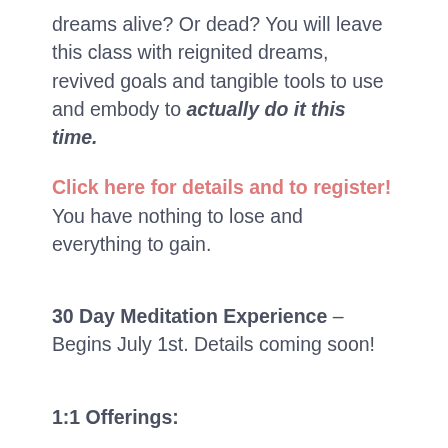dreams alive? Or dead? You will leave this class with reignited dreams, revived goals and tangible tools to use and embody to actually do it this time.
Click here for details and to register! You have nothing to lose and everything to gain.
30 Day Meditation Experience – Begins July 1st. Details coming soon!
1:1 Offerings:
I currently offer 1:1 private Mindful Music piano